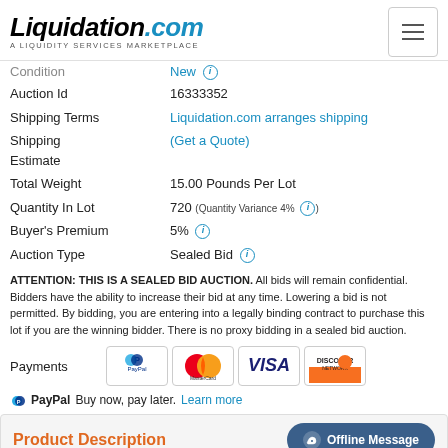Liquidation.com — A Liquidity Services Marketplace
Condition: New
Auction Id: 16333352
Shipping Terms: Liquidation.com arranges shipping
Shipping Estimate: (Get a Quote)
Total Weight: 15.00 Pounds Per Lot
Quantity In Lot: 720 (Quantity Variance 4%)
Buyer's Premium: 5%
Auction Type: Sealed Bid
ATTENTION: THIS IS A SEALED BID AUCTION. All bids will remain confidential. Bidders have the ability to increase their bid at any time. Lowering a bid is not permitted. By bidding, you are entering into a legally binding contract to purchase this lot if you are the winning bidder. There is no proxy bidding in a sealed bid auction.
Payments: PayPal, MasterCard, VISA, Discover
PayPal Buy now, pay later. Learn more
Product Description
View Manifest